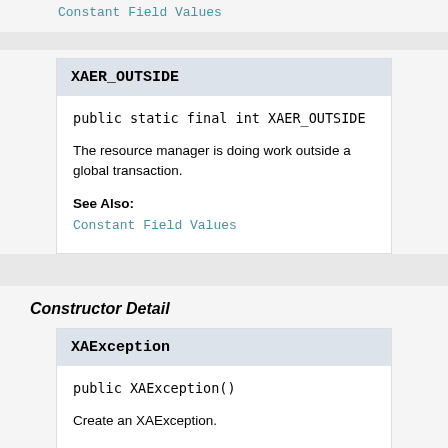Constant Field Values
XAER_OUTSIDE
public static final int XAER_OUTSIDE
The resource manager is doing work outside a global transaction.
See Also:
Constant Field Values
Constructor Detail
XAException
public XAException()
Create an XAException.